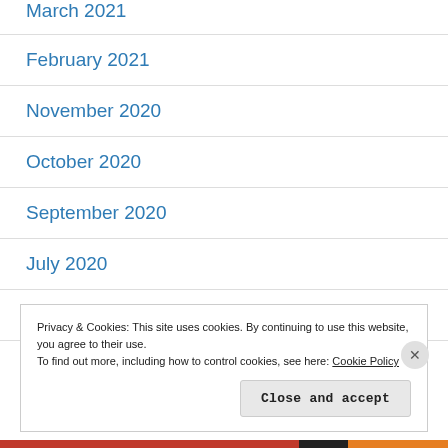March 2021
February 2021
November 2020
October 2020
September 2020
July 2020
April 2020
Privacy & Cookies: This site uses cookies. By continuing to use this website, you agree to their use. To find out more, including how to control cookies, see here: Cookie Policy
Close and accept